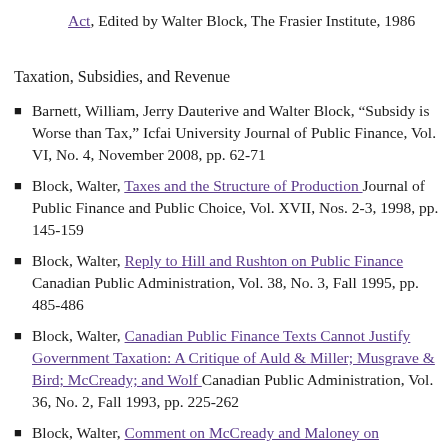Act, Edited by Walter Block, The Frasier Institute, 1986
Taxation, Subsidies, and Revenue
Barnett, William, Jerry Dauterive and Walter Block, “Subsidy is Worse than Tax,” Icfai University Journal of Public Finance, Vol. VI, No. 4, November 2008, pp. 62-71
Block, Walter, Taxes and the Structure of Production Journal of Public Finance and Public Choice, Vol. XVII, Nos. 2-3, 1998, pp. 145-159
Block, Walter, Reply to Hill and Rushton on Public Finance Canadian Public Administration, Vol. 38, No. 3, Fall 1995, pp. 485-486
Block, Walter, Canadian Public Finance Texts Cannot Justify Government Taxation: A Critique of Auld & Miller; Musgrave & Bird; McCready; and Wolf Canadian Public Administration, Vol. 36, No. 2, Fall 1993, pp. 225-262
Block, Walter, Comment on McCready and Maloney on